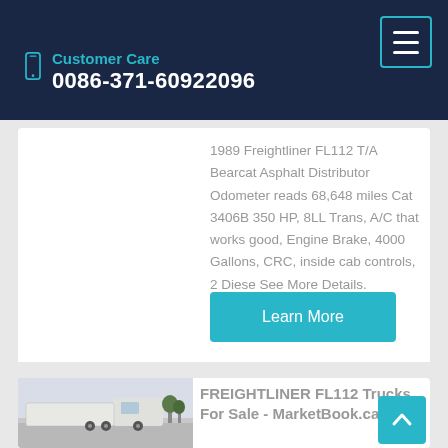Customer Care 0086-371-60922096
1989 Freightliner FL112 T/A Bearcat Asphalt Distributor Odometer reads 68,648 miles Cat 3406B 350 HP, 8LL Trans, A/C that works good, Engine Brake, 4000 Gallons, CRC, inside cab controls, 2 Diese See More Details.
Learn More
FREIGHTLINER FL112 Trucks For Sale - MarketBook.ca